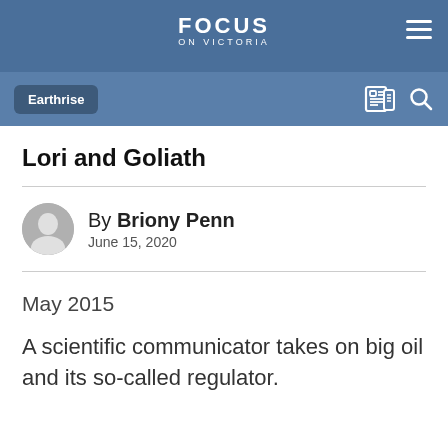FOCUS ON VICTORIA
Lori and Goliath
By Briony Penn
June 15, 2020
May 2015
A scientific communicator takes on big oil and its so-called regulator.